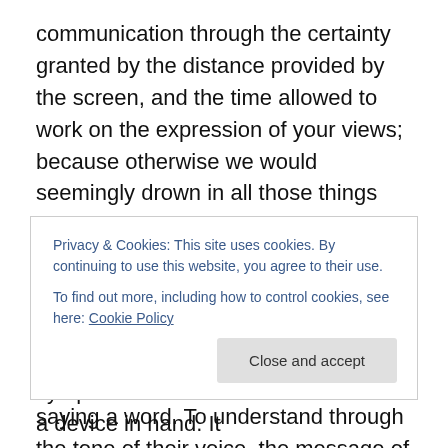communication through the certainty granted by the distance provided by the screen, and the time allowed to work on the expression of your views; because otherwise we would seemingly drown in all those things that would have been left unsaid. Yet, filling up with words and flagrant demonstrations of actions, we have become void of sentiment. We have lost the ability to talk, to gaze into the other person's eyes and speak without saying a word. To understand through the tone of their voice, the message of their heartbeat. To comprehend their state of mind, simply by observing their body language. There are
Privacy & Cookies: This site uses cookies. By continuing to use this website, you agree to their use.
To find out more, including how to control cookies, see here: Cookie Policy
symptoms when we are found without a device in hand. It